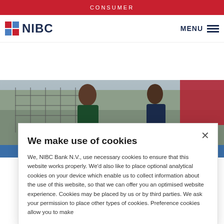CONSUMER
[Figure (logo): NIBC Bank logo with red and blue flag icon and NIBC text in dark navy]
MENU
[Figure (photo): Two people talking outdoors near a construction site or warehouse setting]
We make use of cookies
We, NIBC Bank N.V., use necessary cookies to ensure that this website works properly. We'd also like to place optional analytical cookies on your device which enable us to collect information about the use of this website, so that we can offer you an optimised website experience. Cookies may be placed by us or by third parties. We ask your permission to place other types of cookies. Preference cookies allow you to make